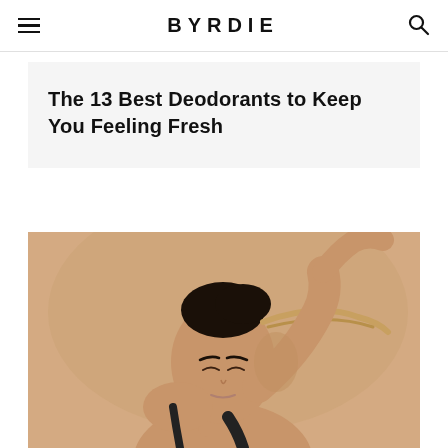BYRDIE
The 13 Best Deodorants to Keep You Feeling Fresh
[Figure (photo): A woman with dark hair pulled up, wearing a black tank top, looking down with her arm raised above her head, against a warm beige/tan background — illustrating underarm area for a deodorant article.]